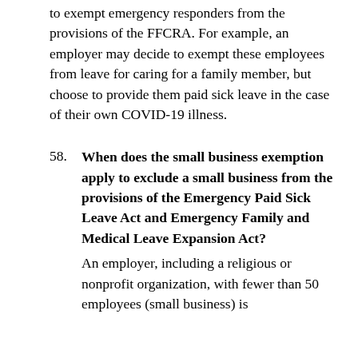to exempt emergency responders from the provisions of the FFCRA. For example, an employer may decide to exempt these employees from leave for caring for a family member, but choose to provide them paid sick leave in the case of their own COVID-19 illness.
58. When does the small business exemption apply to exclude a small business from the provisions of the Emergency Paid Sick Leave Act and Emergency Family and Medical Leave Expansion Act? An employer, including a religious or nonprofit organization, with fewer than 50 employees (small business) is